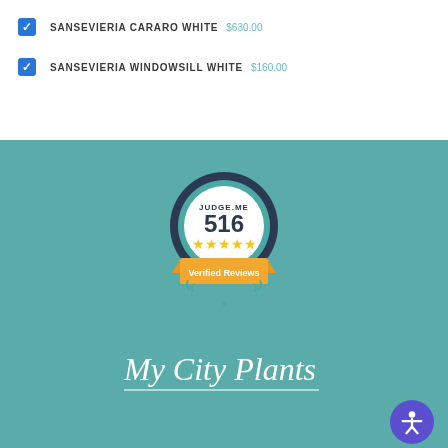SANSEVIERIA CARARO WHITE  $630.00
SANSEVIERIA WINDOWSILL WHITE  $160.00
[Figure (logo): Judge.me badge showing 516 verified reviews with 5 stars]
[Figure (logo): My City Plants logo in white cursive script]